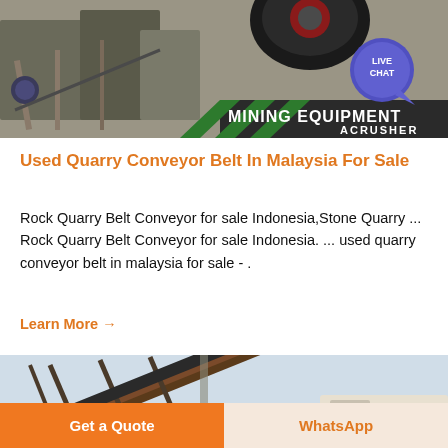[Figure (photo): Mining equipment site photo showing industrial crushing/processing machinery with steel structures, conveyor systems, and stone aggregate. Overlay text reads MINING EQUIPMENT ACRUSHER with LIVE CHAT bubble icon in top right.]
Used Quarry Conveyor Belt In Malaysia For Sale
Rock Quarry Belt Conveyor for sale Indonesia,Stone Quarry ... Rock Quarry Belt Conveyor for sale Indonesia. ... used quarry conveyor belt in malaysia for sale - .
Learn More →
[Figure (photo): Partial photo of a quarry conveyor belt system, showing a steel frame conveyor structure at an angle, outdoors.]
Get a Quote
WhatsApp